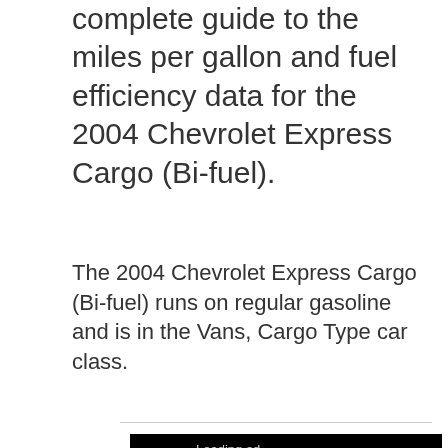complete guide to the miles per gallon and fuel efficiency data for the 2004 Chevrolet Express Cargo (Bi-fuel).
The 2004 Chevrolet Express Cargo (Bi-fuel) runs on regular gasoline and is in the Vans, Cargo Type car class.
[Figure (other): Loading ad placeholder — black rectangle with 'Loading ad' text and a spinner arc icon]
[Figure (other): Circle K Convenience Store advertisement banner with Circle K logo, store name, and navigation diamond arrow icon]